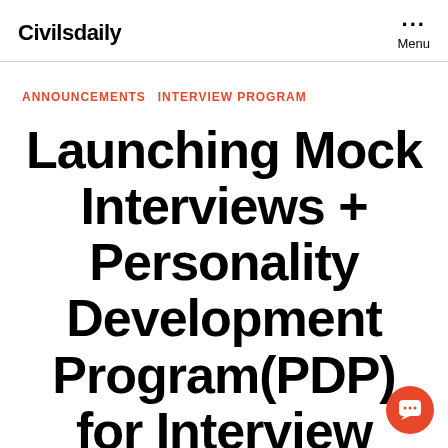Civilsdaily  ···  Menu
ANNOUNCEMENTS  INTERVIEW PROGRAM
Launching Mock Interviews + Personality Development Program(PDP) for Interview Round